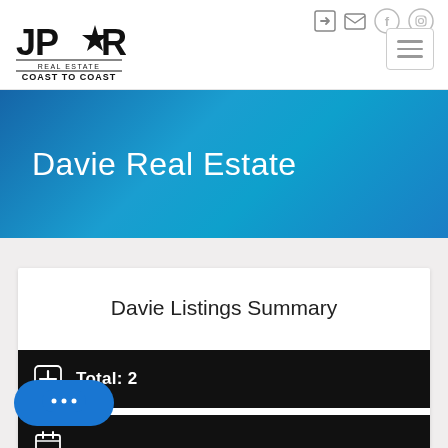[Figure (logo): JPR Real Estate Coast to Coast logo with star emblem]
Davie Real Estate
Davie Listings Summary
Total: 2